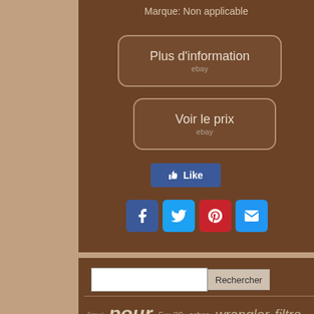Marque: Non applicable
[Figure (screenshot): Plus d'information button with ebay label, rounded rectangle border on brown background]
[Figure (screenshot): Voir le prix button with ebay label, rounded rectangle border on brown background]
[Figure (screenshot): Facebook Like button (blue)]
[Figure (screenshot): Social media share icons: Facebook, Twitter, Pinterest, Email]
[Figure (screenshot): Search input field with Rechercher button]
pour liqui 5w-30 arbre wrangler filtre moly 05-10 transmission vilaub avant turbo